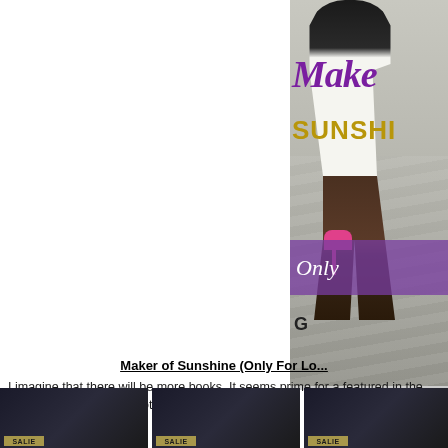[Figure (illustration): Book cover for 'Maker of Sunshine (Only For Lo...)' showing a woman in a white dress walking away, holding pink high heels, with cursive purple title text 'Make...' and gold text 'SUNSHI...' and a purple banner at the bottom with 'Only...' in white script, and author initial 'G' visible.]
Maker of Sunshine (Only For Lo...
I imagine that there will be more books. It seems prime for a featured in the novel—from the grandmother on down. You ge
[Figure (illustration): Partial book cover thumbnail on the left]
[Figure (illustration): Partial book cover thumbnail in the center]
[Figure (illustration): Partial book cover thumbnail on the right]